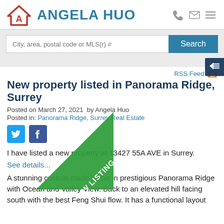ANGELA HUO
[Figure (logo): Angela Huo real estate logo with house/A icon in red and teal]
City, area, postal code or MLS(r) #
Search
RSS Feed
New property listed in Panorama Ridge, Surrey
Posted on March 27, 2021  by Angela Huo
Posted in: Panorama Ridge, Surrey Real Estate
[Figure (infographic): Green diagonal NEW LISTING badge/ribbon]
I have listed a new property at 13427 55A AVE in Surrey.
See details...
A stunning custom made home in prestigious Panorama Ridge with Ocean and Valley View. Back to an elevated hill facing south with the best Feng Shui flow. It has a functional layout